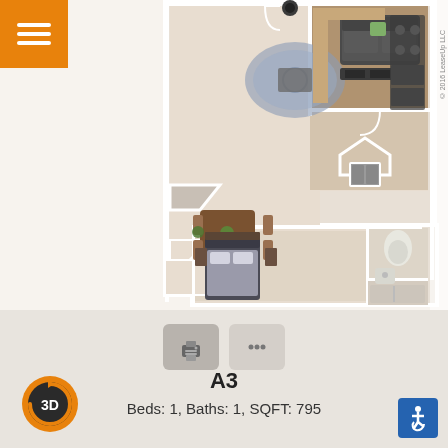[Figure (floorplan): 3D rendered floor plan of apartment unit A3, showing a living/dining area with table and sofa, kitchen with dark wood flooring, bedroom with queen bed, and bathroom. The layout is an irregular shape viewed from above.]
A3
Beds: 1, Baths: 1, SQFT: 795